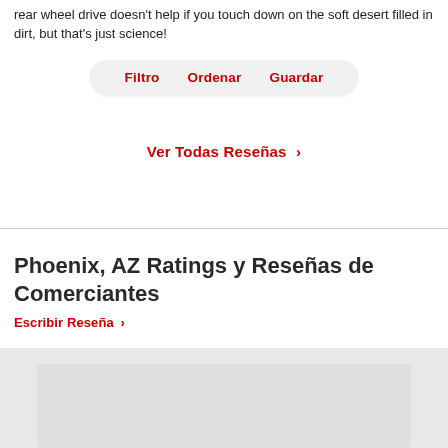rear wheel drive doesn't help if you touch down on the soft desert filled in dirt, but that's just science!
[Figure (screenshot): Filter bar with three red text options: Filtro, Ordenar, Guardar on a light gray rounded pill background]
Ver Todas Reseñas >
Phoenix, AZ Ratings y Reseñas de Comerciantes
Escribir Reseña >
[Figure (other): Gray background band with a lighter gray inner block at the bottom of the page]